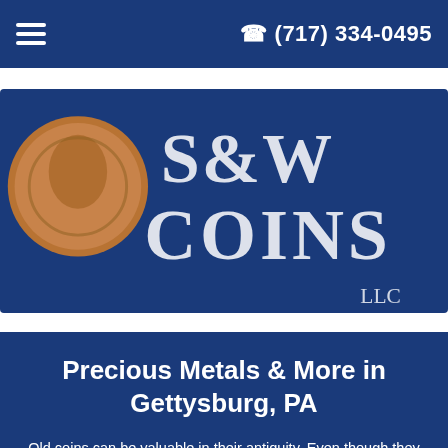☰  (717) 334-0495
[Figure (logo): S&W Coins LLC logo — blue rectangle with a coin image on the left and white text 'S&W COINS LLC']
Precious Metals & More in Gettysburg, PA
Old coins can be valuable in their antiquity. Even though they may lose their fiduciary value on the market, their antique or vintage status keeps them highly valuable collectible.